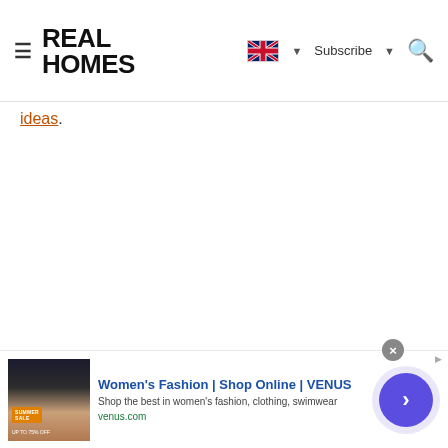REAL HOMES
ideas.
[Figure (screenshot): Advertisement banner: Women's Fashion | Shop Online | VENUS. Shop the best in women's fashion, clothing, swimwear. venus.com]